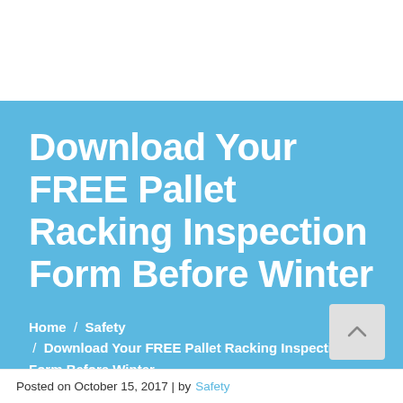Download Your FREE Pallet Racking Inspection Form Before Winter
Home / Safety / Download Your FREE Pallet Racking Inspection Form Before Winter
Posted on October 15, 2017 | by Safety